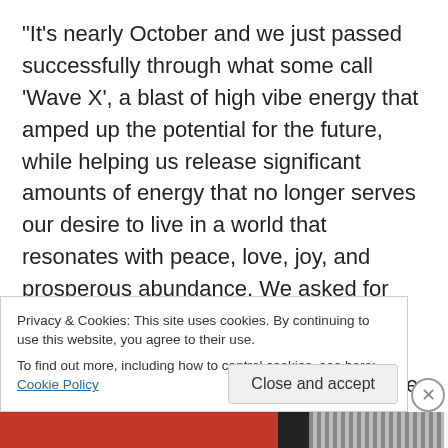“It’s nearly October and we just passed successfully through what some call ‘Wave X’, a blast of high vibe energy that amped up the potential for the future, while helping us release significant amounts of energy that no longer serves our desire to live in a world that resonates with peace, love, joy, and prosperous abundance. We asked for help to change the world and we got it. Although it doesn’t come in the form of the rescuer on a white horse, it did come in the form of the energy we need to create the change we want. This is, after all, our domain and our home. If we want it cleaned up, we have to get the
Privacy & Cookies: This site uses cookies. By continuing to use this website, you agree to their use.
To find out more, including how to control cookies, see here: Cookie Policy
Close and accept